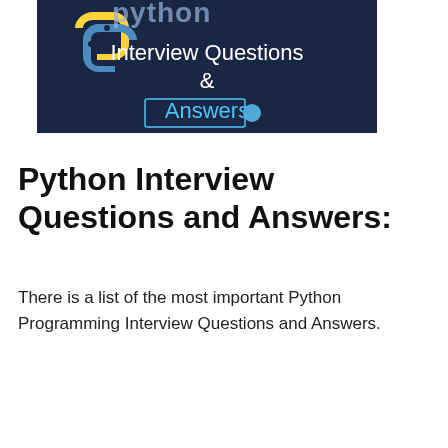[Figure (illustration): Python logo with text 'Interview Questions & Answers' on a dark navy blue background]
Python Interview Questions and Answers:
There is a list of the most important Python Programming Interview Questions and Answers.